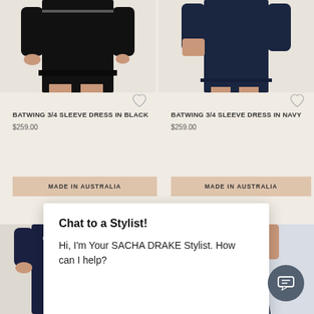[Figure (photo): Black batwing 3/4 sleeve dress on model, cropped from torso down]
[Figure (photo): Navy batwing 3/4 sleeve dress on model, cropped from torso down]
BATWING 3/4 SLEEVE DRESS IN BLACK
$259.00
BATWING 3/4 SLEEVE DRESS IN NAVY
$259.00
MADE IN AUSTRALIA
MADE IN AUSTRALIA
Chat to a Stylist!
Hi, I'm Your SACHA DRAKE Stylist. How can I help?
[Figure (photo): Navy polka dot dress on model]
[Figure (photo): Navy formal dress on model with gold belt]